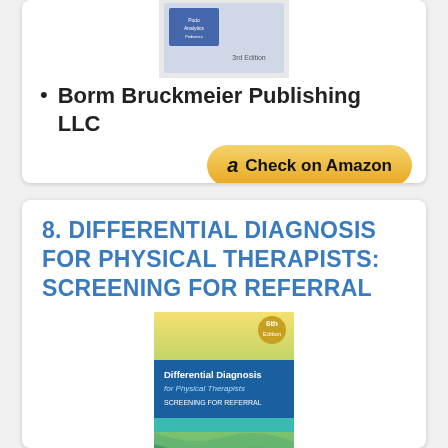[Figure (photo): Book cover thumbnail at top of first card]
Borm Bruckmeier Publishing LLC
[Figure (other): Check on Amazon button]
8. DIFFERENTIAL DIAGNOSIS FOR PHYSICAL THERAPISTS: SCREENING FOR REFERRAL
[Figure (photo): Book cover for Differential Diagnosis for Physical Therapists: Screening for Referral, 6th Edition]